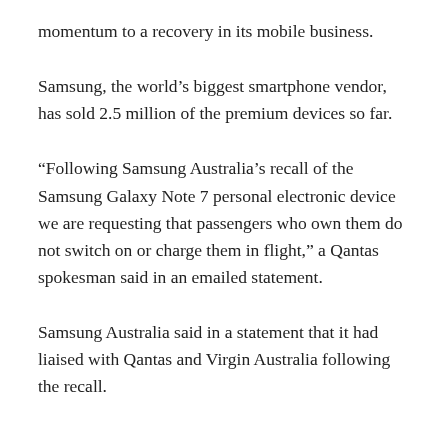momentum to a recovery in its mobile business.
Samsung, the world’s biggest smartphone vendor, has sold 2.5 million of the premium devices so far.
“Following Samsung Australia’s recall of the Samsung Galaxy Note 7 personal electronic device we are requesting that passengers who own them do not switch on or charge them in flight,” a Qantas spokesman said in an emailed statement.
Samsung Australia said in a statement that it had liaised with Qantas and Virgin Australia following the recall.